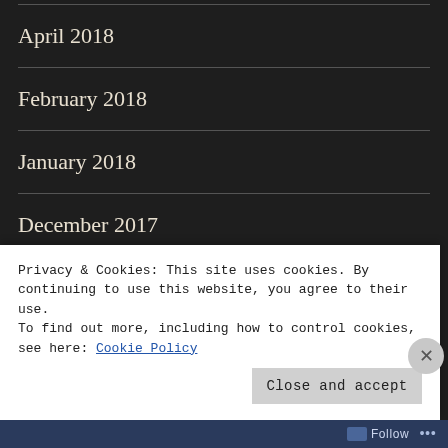April 2018
February 2018
January 2018
December 2017
November 2017
Privacy & Cookies: This site uses cookies. By continuing to use this website, you agree to their use.
To find out more, including how to control cookies, see here: Cookie Policy
Close and accept